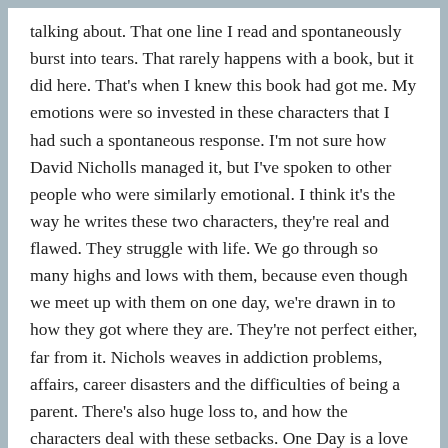talking about. That one line I read and spontaneously burst into tears. That rarely happens with a book, but it did here. That's when I knew this book had got me. My emotions were so invested in these characters that I had such a spontaneous response. I'm not sure how David Nicholls managed it, but I've spoken to other people who were similarly emotional. I think it's the way he writes these two characters, they're real and flawed. They struggle with life. We go through so many highs and lows with them, because even though we meet up with them on one day, we're drawn in to how they got where they are. They're not perfect either, far from it. Nichols weaves in addiction problems, affairs, career disasters and the difficulties of being a parent. There's also huge loss to, and how the characters deal with these setbacks. One Day is a love story. Love is the primary theme of the novel. However, it's also about